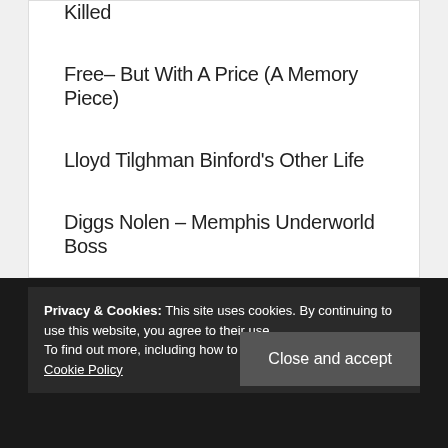Killed
Free– But With A Price (A Memory Piece)
Lloyd Tilghman Binford's Other Life
Diggs Nolen – Memphis Underworld Boss
Shelby County History Day
Privacy & Cookies: This site uses cookies. By continuing to use this website, you agree to their use. To find out more, including how to control cookies, see here: Cookie Policy
Close and accept